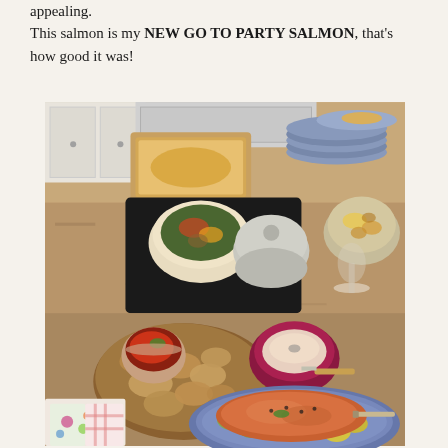appealing.
This salmon is my NEW GO TO PARTY SALMON, that's how good it was!
[Figure (photo): A spread of party food on a kitchen counter including a whole salmon fillet on a blue platter garnished with cucumber slices and lemon, crostini with tomato bruschetta, a radicchio bowl with dip, grain salad in a bowl, a Dutch oven, roasted potatoes, a casserole dish, and a stack of blue and white plates.]